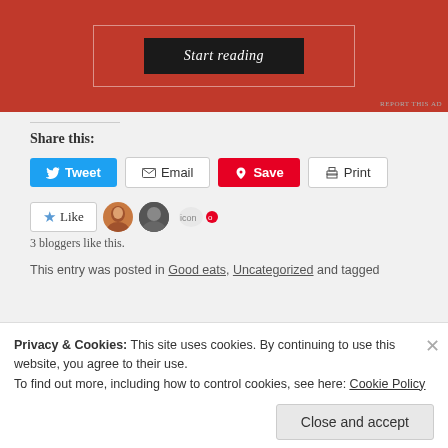[Figure (other): Red advertisement banner with 'Start reading' button]
REPORT THIS AD
Share this:
Tweet  Email  Save  Print
[Figure (other): Like button with 3 blogger avatars]
3 bloggers like this.
This entry was posted in Good eats, Uncategorized and tagged
Privacy & Cookies: This site uses cookies. By continuing to use this website, you agree to their use. To find out more, including how to control cookies, see here: Cookie Policy
Close and accept